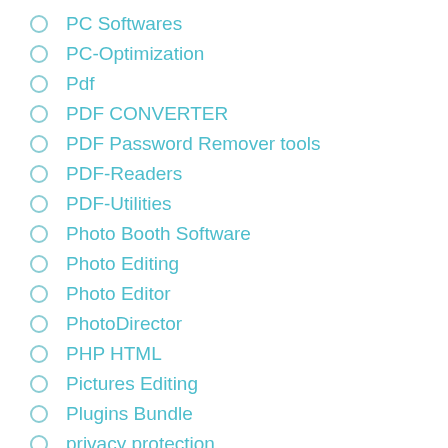PC Softwares
PC-Optimization
Pdf
PDF CONVERTER
PDF Password Remover tools
PDF-Readers
PDF-Utilities
Photo Booth Software
Photo Editing
Photo Editor
PhotoDirector
PHP HTML
Pictures Editing
Plugins Bundle
privacy protection